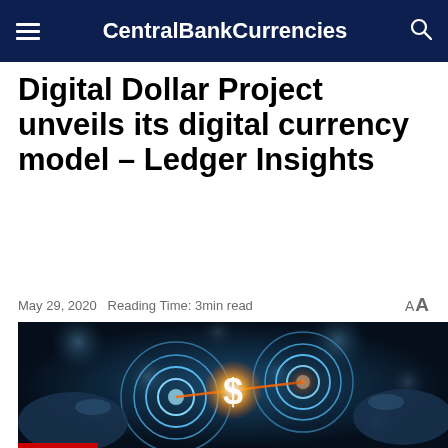CentralBankCurrencies
Digital Dollar Project unveils its digital currency model – Ledger Insights
May 29, 2020   Reading Time: 3min read
[Figure (photo): Two hands touching glowing digital targets with a dollar sign in the center, bokeh blue background representing digital currency concept]